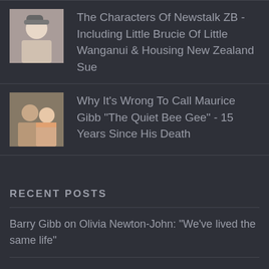[Figure (photo): Thumbnail photo of a person in a cap]
The Characters Of Newstalk ZB - Including Little Brucie Of Little Wanganui & Housing New Zealand Sue
[Figure (photo): Thumbnail photo of two people]
Why It's Wrong To Call Maurice Gibb "The Quiet Bee Gee" - 15 Years Since His Death
RECENT POSTS
Barry Gibb on Olivia Newton-John: "We've lived the same life"
8 Essential Paul McCartney & Brian Wilson Songs